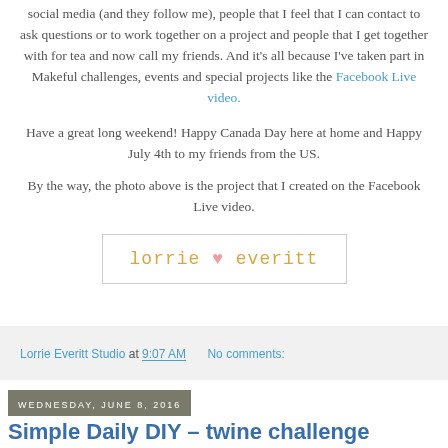social media (and they follow me), people that I feel that I can contact to ask questions or to work together on a project and people that I get together with for tea and now call my friends. And it's all because I've taken part in Makeful challenges, events and special projects like the Facebook Live video.
Have a great long weekend! Happy Canada Day here at home and Happy July 4th to my friends from the US.
By the way, the photo above is the project that I created on the Facebook Live video.
[Figure (logo): Signature logo reading 'lorrie heart everitt' in monospace golden/yellow text with a pink heart symbol, inside a light border box]
Lorrie Everitt Studio at 9:07 AM   No comments:
Wednesday, June 8, 2016
Simple Daily DIY – twine challenge